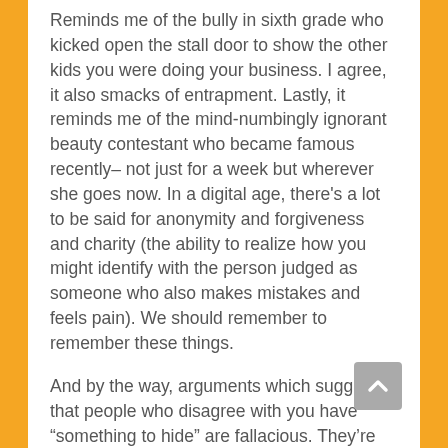Reminds me of the bully in sixth grade who kicked open the stall door to show the other kids you were doing your business. I agree, it also smacks of entrapment. Lastly, it reminds me of the mind-numbingly ignorant beauty contestant who became famous recently– not just for a week but wherever she goes now. In a digital age, there's a lot to be said for anonymity and forgiveness and charity (the ability to realize how you might identify with the person judged as someone who also makes mistakes and feels pain). We should remember to remember these things.
And by the way, arguments which suggest that people who disagree with you have "something to hide" are fallacious. They're ad hominem attacks. Unethical and ignorant. You can read more here: